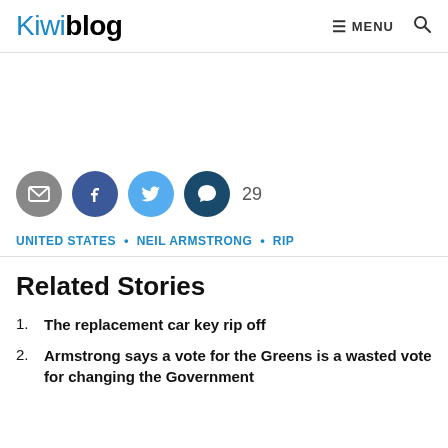Kiwiblog  ≡ MENU  🔍
[Figure (other): Social sharing icons: email (grey circle), Facebook (dark blue circle), Twitter (light blue circle), comment (dark teal circle) with count 29]
UNITED STATES • NEIL ARMSTRONG • RIP
Related Stories
1. The replacement car key rip off
2. Armstrong says a vote for the Greens is a wasted vote for changing the Government